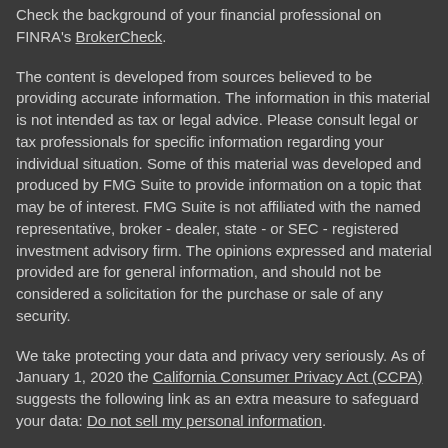Check the background of your financial professional on FINRA's BrokerCheck.
The content is developed from sources believed to be providing accurate information. The information in this material is not intended as tax or legal advice. Please consult legal or tax professionals for specific information regarding your individual situation. Some of this material was developed and produced by FMG Suite to provide information on a topic that may be of interest. FMG Suite is not affiliated with the named representative, broker - dealer, state - or SEC - registered investment advisory firm. The opinions expressed and material provided are for general information, and should not be considered a solicitation for the purchase or sale of any security.
We take protecting your data and privacy very seriously. As of January 1, 2020 the California Consumer Privacy Act (CCPA) suggests the following link as an extra measure to safeguard your data: Do not sell my personal information.
Copyright 2022 FMG Suite.
Securities offered through Registered Representatives of Cetera